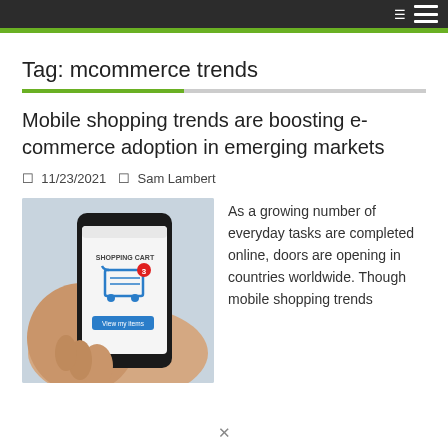Tag: mcommerce trends
Mobile shopping trends are boosting e-commerce adoption in emerging markets
11/23/2021   Sam Lambert
[Figure (photo): A hand holding a smartphone displaying a shopping cart app with 'SHOPPING CART' text and a blue cart icon with a red badge showing '3', and a 'View my items' button.]
As a growing number of everyday tasks are completed online, doors are opening in countries worldwide. Though mobile shopping trends